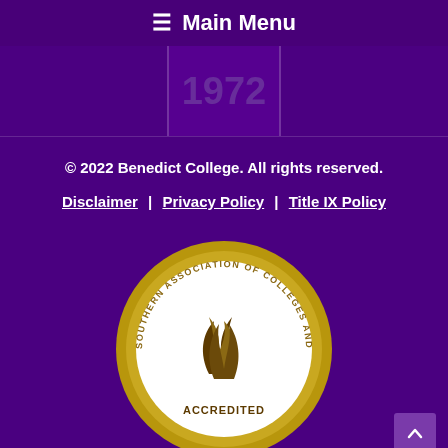☰ Main Menu
[Figure (other): Purple hero banner with darkened left and right panels and a centered number/text element]
© 2022 Benedict College. All rights reserved.
Disclaimer | Privacy Policy | Title IX Policy
[Figure (logo): Southern Association of Colleges and Schools (SACS) Accredited seal - circular gold border with white interior, flame logo, and text 'SOUTHERN ASSOCIATION OF COLLEGES AND SCHOOLS' around the ring and 'ACCREDITED' at the bottom]